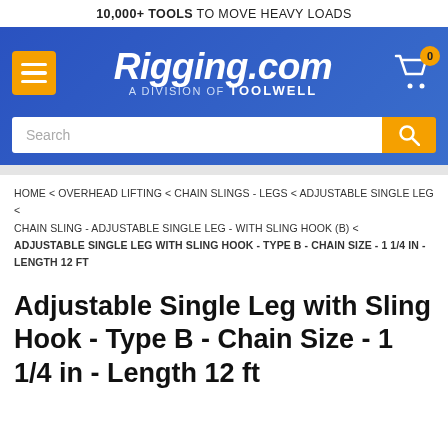10,000+ TOOLS TO MOVE HEAVY LOADS
[Figure (logo): Rigging.com - A Division of TOOLWELL logo on blue banner background with orange hamburger menu icon and shopping cart icon with 0 badge]
Search
HOME < OVERHEAD LIFTING < CHAIN SLINGS - LEGS < ADJUSTABLE SINGLE LEG < CHAIN SLING - ADJUSTABLE SINGLE LEG - WITH SLING HOOK (B) < ADJUSTABLE SINGLE LEG WITH SLING HOOK - TYPE B - CHAIN SIZE - 1 1/4 IN - LENGTH 12 FT
Adjustable Single Leg with Sling Hook - Type B - Chain Size - 1 1/4 in - Length 12 ft